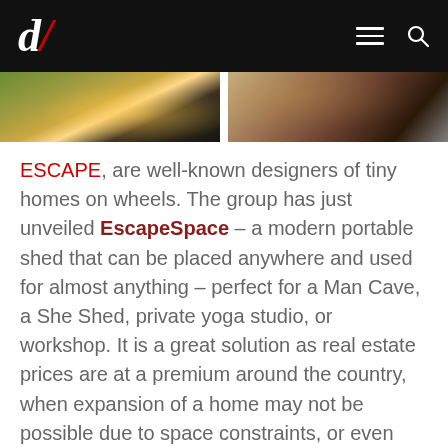d/ [logo] — navigation bar with menu and search icons
[Figure (photo): Two partial photos side by side: left shows a modern tiny home/shed on grass with glowing interior, right shows an interior wood-paneled room or corridor.]
ESCAPE, are well-known designers of tiny homes on wheels. The group has just unveiled EscapeSpace – a modern portable shed that can be placed anywhere and used for almost anything – perfect for a Man Cave, a She Shed, private yoga studio, or workshop. It is a great solution as real estate prices are at a premium around the country, when expansion of a home may not be possible due to space constraints, or even time and budget. It is a great cost-effective solution for design...